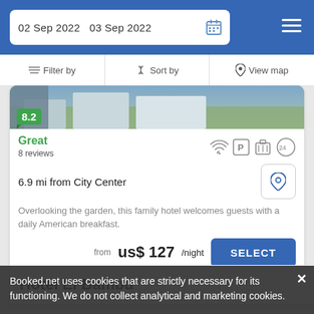02 Sep 2022  03 Sep 2022
Filter by  Sort by  View map
8.2
Great
8 reviews
6.9 mi from City Center
Overlooking the garden, this family hotel welcomes guests with a daily American breakfast.
from  us$ 127/night
Hotel El Bambu
Booked.net uses cookies that are strictly necessary for its functioning. We do not collect analytical and marketing cookies.